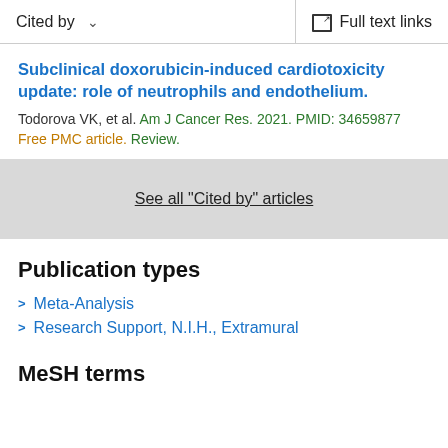Cited by   Full text links
Subclinical doxorubicin-induced cardiotoxicity update: role of neutrophils and endothelium.
Todorova VK, et al. Am J Cancer Res. 2021. PMID: 34659877 Free PMC article. Review.
See all "Cited by" articles
Publication types
Meta-Analysis
Research Support, N.I.H., Extramural
MeSH terms